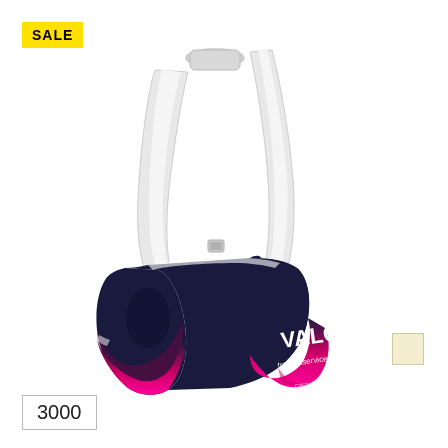[Figure (photo): Cycling bib shorts with white shoulder straps. The shorts are dark navy blue with a pink/magenta gradient fading from bottom. Has 'VALCAR' branding in white text on the right leg and additional sponsor text. Chamois pad visible on left side. White mesh straps extend upward.]
SALE
3000